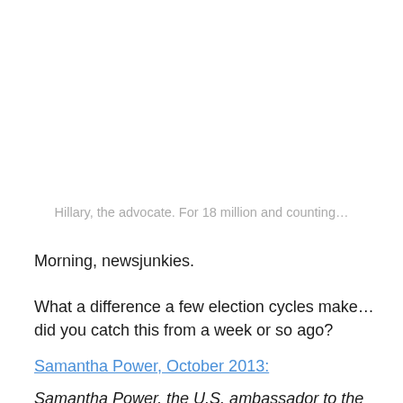Hillary, the advocate. For 18 million and counting…
Morning, newsjunkies.
What a difference a few election cycles make… did you catch this from a week or so ago?
Samantha Power, October 2013:
Samantha Power, the U.S. ambassador to the United Nations, said in an interview broadcast Thursday that she